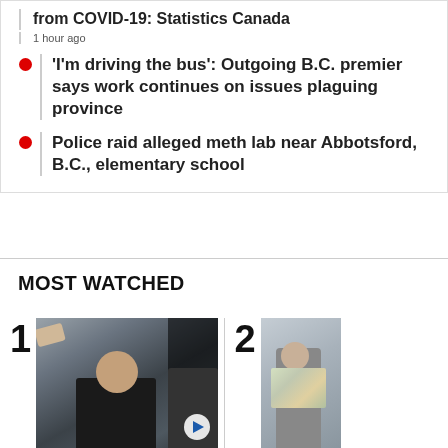from COVID-19: Statistics Canada
1 hour ago
'I'm driving the bus': Outgoing B.C. premier says work continues on issues plaguing province
Police raid alleged meth lab near Abbotsford, B.C., elementary school
MOST WATCHED
[Figure (photo): Video thumbnail showing a man in a black shirt surrounded by people, appears to be an altercation or intense scene outdoors. Ranked #1 in Most Watched.]
[Figure (photo): Video thumbnail showing a person in a Hawaiian shirt walking, partially visible. Ranked #2 in Most Watched.]